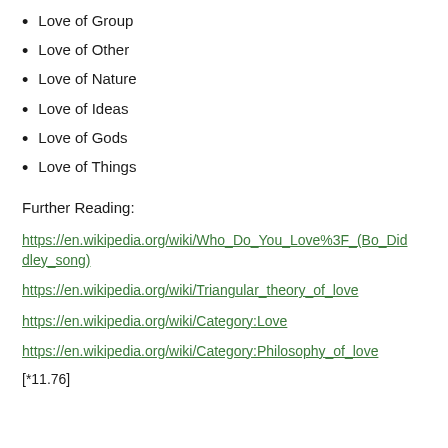Love of Group
Love of Other
Love of Nature
Love of Ideas
Love of Gods
Love of Things
Further Reading:
https://en.wikipedia.org/wiki/Who_Do_You_Love%3F_(Bo_Diddley_song)
https://en.wikipedia.org/wiki/Triangular_theory_of_love
https://en.wikipedia.org/wiki/Category:Love
https://en.wikipedia.org/wiki/Category:Philosophy_of_love
[*11.76]